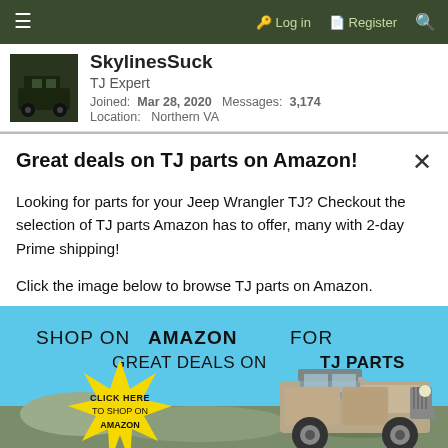≡   🔑 Log in   🗒 Register   🔍
SkylinesSuck
TJ Expert
Joined: Mar 28, 2020   Messages: 3,174
Location: Northern VA
Great deals on TJ parts on Amazon!
Looking for parts for your Jeep Wrangler TJ? Checkout the selection of TJ parts Amazon has to offer, many with 2-day Prime shipping!
Click the image below to browse TJ parts on Amazon.
[Figure (illustration): Advertisement banner: 'SHOP ON AMAZON FOR GREAT DEALS ON TJ PARTS' with a yellow starburst 'CLICK HERE TO SHOP ON AMAZON' and a Jeep Wrangler TJ illustration on a blue background.]